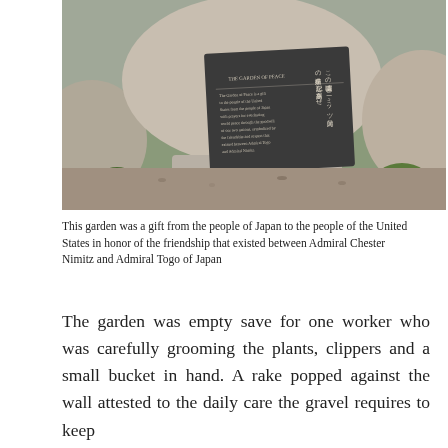[Figure (photo): A stone monument in a Japanese garden with a dark plaque. The plaque has text in both English ('THE GARDEN OF PEACE') and Japanese characters. The monument is surrounded by rocks, ornamental grasses, and landscaping.]
This garden was a gift from the people of Japan to the people of the United States in honor of the friendship that existed between Admiral Chester Nimitz and Admiral Togo of Japan
The garden was empty save for one worker who was carefully grooming the plants, clippers and a small bucket in hand. A rake popped against the wall attested to the daily care the gravel requires to keep